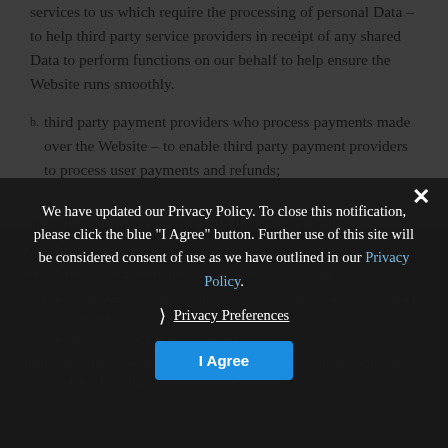services to us which require the processing of personal Data – to help third party service providers in receipt of any shared Data to perform functions on our behalf to help ensure the Website runs smoothly.
b. third party payment providers who process payments made over the Website – to enable third party payment providers to process user payments and refunds;
in each case, in accordance with this privacy policy.
Keeping Data secure
We will use technical and organisational measures to safeguard...
a. access to your account is controlled by a password and a username that is unique to you;
b. we store your Data on secure servers.
Technical and organisational measures include measures to deal with any suspected data breach. If you suspect any misuse...
We have updated our Privacy Policy. To close this notification, please click the blue "I Agree" button. Further use of this site will be considered consent of use as we have outlined in our Privacy Policy.